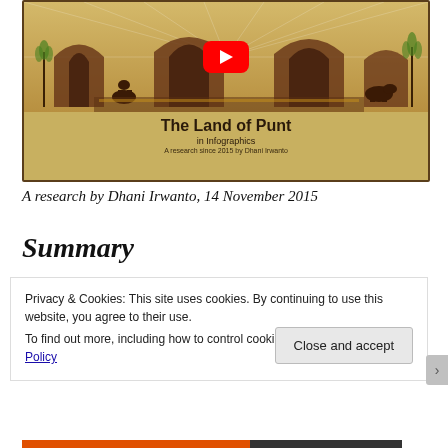[Figure (screenshot): YouTube video thumbnail for 'The Land of Punt in Infographics' by Dhani Irwanto, showing Egyptian-themed artwork with a red YouTube play button overlay. Text reads: 'The Land of Punt in Infographics. A research since 2015 by Dhani Irwanto']
A research by Dhani Irwanto, 14 November 2015
Summary
Privacy & Cookies: This site uses cookies. By continuing to use this website, you agree to their use.
To find out more, including how to control cookies, see here: Cookie Policy
Close and accept